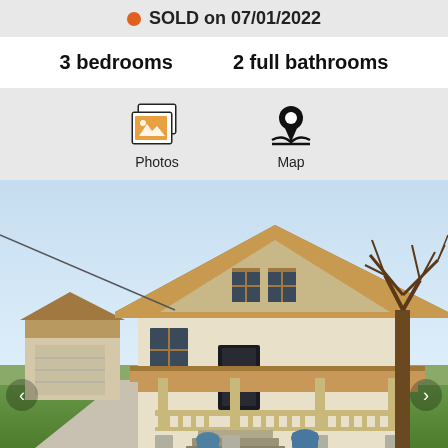SOLD on 07/01/2022
3 bedrooms   2 full bathrooms
[Figure (infographic): Photos and Map navigation icons with labels]
[Figure (photo): Exterior photo of a two-story craftsman-style house with covered front porch, wood railing, steps, and garage visible to the left. Bare trees on the right side. Clear sky background.]